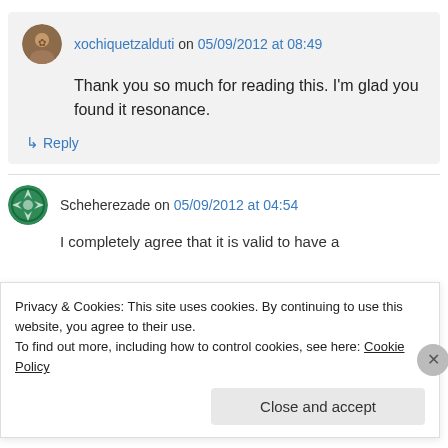xochiquetzalduti on 05/09/2012 at 08:49
Thank you so much for reading this. I'm glad you found it resonance.
↳ Reply
Scheherezade on 05/09/2012 at 04:54
I completely agree that it is valid to have a
Privacy & Cookies: This site uses cookies. By continuing to use this website, you agree to their use. To find out more, including how to control cookies, see here: Cookie Policy
Close and accept